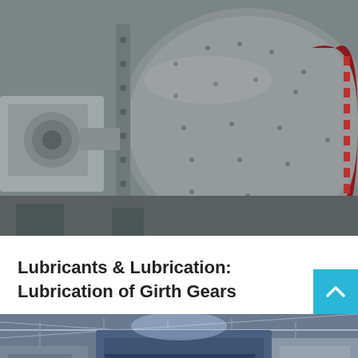[Figure (photo): Industrial ball mill with large cylindrical drum, bolted flange, motor housing on left, and red girth gear visible on right side. Gray steel machinery in industrial setting.]
Lubricants & Lubrication: Lubrication of Girth Gears
Oct 03, 2011 The girth gear is the heart of most mills and kiln drive system. They have high efficiency and the overall life of these gears...
[Figure (photo): Industrial facility interior with large blue-tinted machinery, conveyor or chute equipment, structural steel roof trusses visible overhead.]